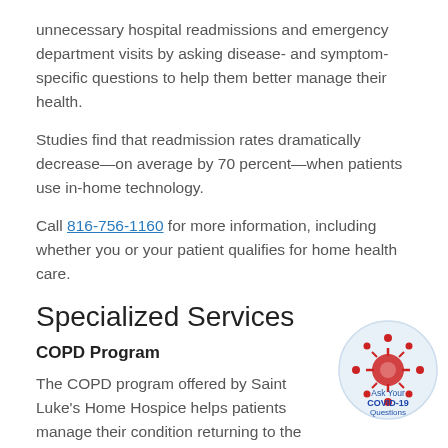unnecessary hospital readmissions and emergency department visits by asking disease- and symptom-specific questions to help them better manage their health.
Studies find that readmission rates dramatically decrease—on average by 70 percent—when patients use in-home technology.
Call 816-756-1160 for more information, including whether you or your patient qualifies for home health care.
Specialized Services
COPD Program
The COPD program offered by Saint Luke's Home Hospice helps patients manage their condition returning to the hospital or visiting the emergency department.
[Figure (illustration): Circular badge with COVID-19 coronavirus icon and text 'Ask Your COVID-19 Questions']